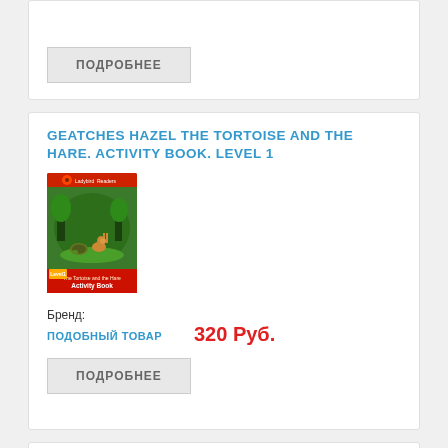ПОДРОБНЕЕ
GEATCHES HAZEL THE TORTOISE AND THE HARE. ACTIVITY BOOK. LEVEL 1
[Figure (illustration): Book cover of 'The Tortoise and the Hare Activity Book' — Ladybird Readers series, showing a green illustrated forest scene with a tortoise and hare, red bottom band with title text]
Бренд:
ПОДОБНЫЙ ТОВАР
320 Руб.
ПОДРОБНЕЕ
DAHL ROALD ROALD DAHL. ESIO TROT. ACTIVITY BOOK. LEVEL 4